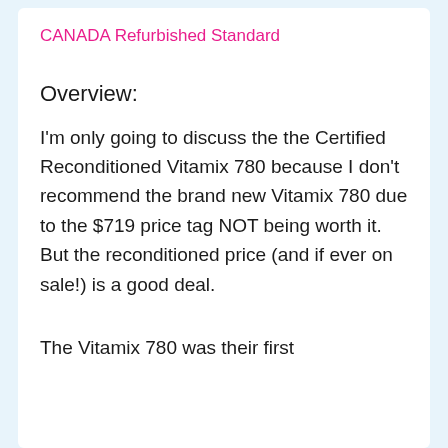CANADA Refurbished Standard
Overview:
I'm only going to discuss the the Certified Reconditioned Vitamix 780 because I don't recommend the brand new Vitamix 780 due to the $719 price tag NOT being worth it. But the reconditioned price (and if ever on sale!) is a good deal.
The Vitamix 780 was their first